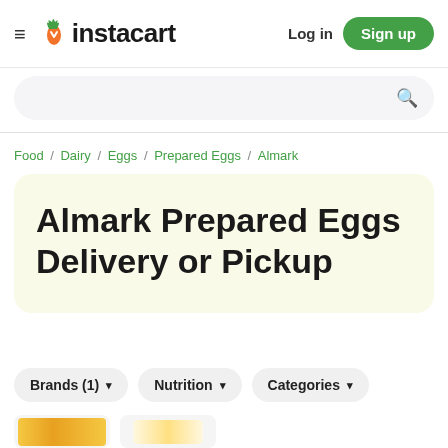≡ instacart  Log in  Sign up
[Figure (screenshot): Instacart logo with green carrot and arrow icon and bold text 'instacart']
Food / Dairy / Eggs / Prepared Eggs / Almark
Almark Prepared Eggs Delivery or Pickup
Brands (1)  Nutrition  Categories
[Figure (photo): Partial product thumbnail images at bottom of page]